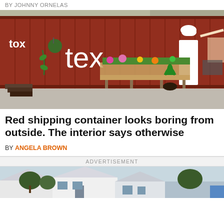BY JOHNNY ORNELAS
[Figure (photo): Red shipping container converted into a living space, exterior view showing large text 'tex' on the side, a white door, hanging plants, a garden bench with flower planters, potted plants, and outdoor furniture on a concrete patio.]
Red shipping container looks boring from outside. The interior says otherwise
BY ANGELA BROWN
ADVERTISEMENT
[Figure (photo): Suburban houses with white and gray siding, trees visible, blue sky in background — advertisement image.]